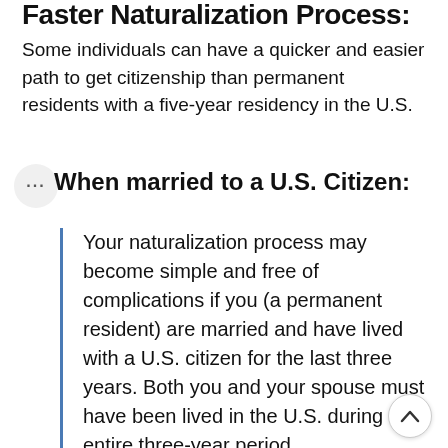Faster Naturalization Process:
Some individuals can have a quicker and easier path to get citizenship than permanent residents with a five-year residency in the U.S.
When married to a U.S. Citizen:
Your naturalization process may become simple and free of complications if you (a permanent resident) are married and have lived with a U.S. citizen for the last three years. Both you and your spouse must have been lived in the U.S. during the entire three-year period.